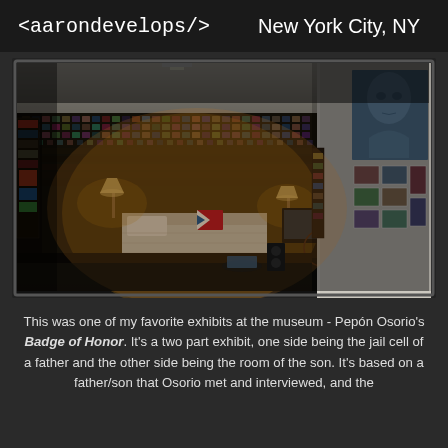<aarondevelops/>   New York City, NY
[Figure (photo): Interior museum installation showing a bedroom scene - Pepón Osorio's 'Badge of Honor' exhibit. The room is densely decorated with photos covering all walls, a bed with white bedding, lamps, a bicycle, electronic equipment, and a large projection on the right wall showing a young man's portrait.]
This was one of my favorite exhibits at the museum - Pepón Osorio's Badge of Honor. It's a two part exhibit, one side being the jail cell of a father and the other side being the room of the son. It's based on a father/son that Osorio met and interviewed, and the fi...